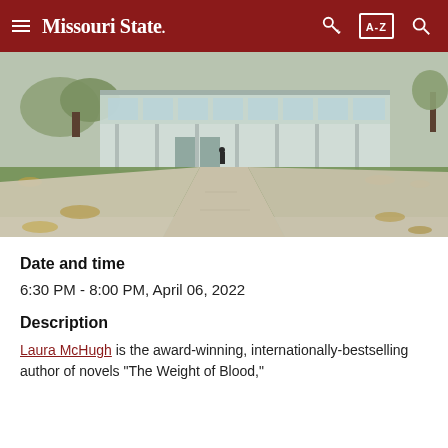Missouri State
[Figure (photo): Campus photo showing a concrete pathway leading toward a modern glass-facade building, with green lawns covered in fallen autumn leaves on either side. A person walks along the path toward the building.]
Date and time
6:30 PM - 8:00 PM, April 06, 2022
Description
Laura McHugh is the award-winning, internationally-bestselling author of novels "The Weight of Blood,"